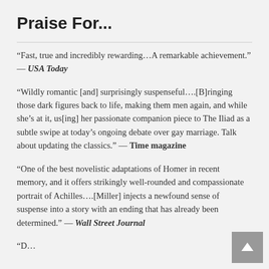Praise For...
“Fast, true and incredibly rewarding…A remarkable achievement.” — USA Today
“Wildly romantic [and] surprisingly suspenseful….[B]ringing those dark figures back to life, making them men again, and while she’s at it, us[ing] her passionate companion piece to The Iliad as a subtle swipe at today’s ongoing debate over gay marriage. Talk about updating the classics.” — Time magazine
“One of the best novelistic adaptations of Homer in recent memory, and it offers strikingly well-rounded and compassionate portrait of Achilles….[Miller] injects a newfound sense of suspense into a story with an ending that has already been determined.” — Wall Street Journal
“D...